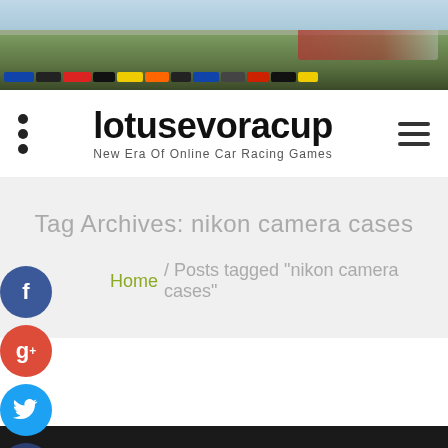[Figure (photo): Aerial/ground-level photo of race cars lined up on a race track with spectators in red shirts visible in the background]
lotusevoracup
New Era Of Online Car Racing Games
Tag Archives: nikon camera cases
Home / Posts tagged "nikon camera cases"